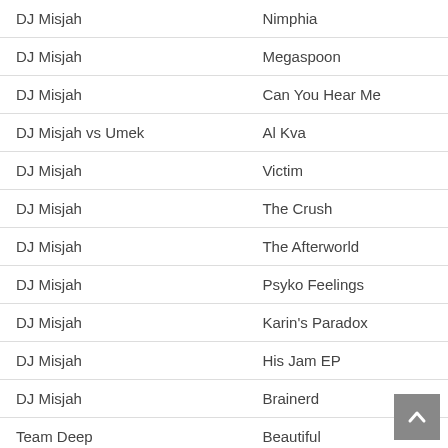| Artist | Track |
| --- | --- |
| DJ Misjah | Nimphia |
| DJ Misjah | Megaspoon |
| DJ Misjah | Can You Hear Me |
| DJ Misjah vs Umek | Al Kva |
| DJ Misjah | Victim |
| DJ Misjah | The Crush |
| DJ Misjah | The Afterworld |
| DJ Misjah | Psyko Feelings |
| DJ Misjah | Karin's Paradox |
| DJ Misjah | His Jam EP |
| DJ Misjah | Brainerd |
| Team Deep | Beautiful |
| DJ Misjah vs Jean-Pierre | Hysteric Maniac |